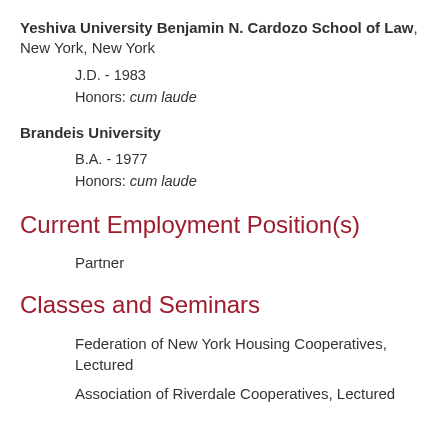Yeshiva University Benjamin N. Cardozo School of Law, New York, New York
J.D. - 1983
Honors: cum laude
Brandeis University
B.A. - 1977
Honors: cum laude
Current Employment Position(s)
Partner
Classes and Seminars
Federation of New York Housing Cooperatives, Lectured
Association of Riverdale Cooperatives, Lectured